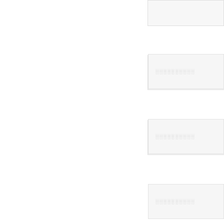░░░░░░░░
░░░░░░░░░░
░░░░░░░░░░
░░░░░░░░░░
░░░░░░░░░░
░░░░░░░░░░░░░░
[Figure (other): Partially visible box with image/icon at bottom right]